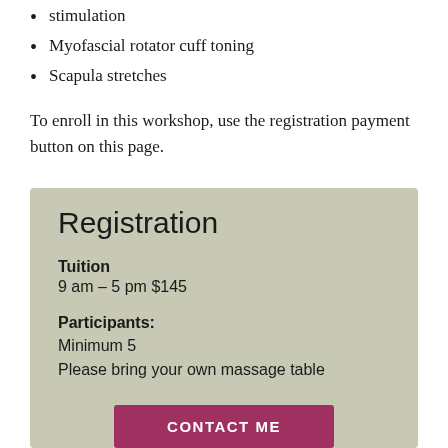stimulation
Myofascial rotator cuff toning
Scapula stretches
To enroll in this workshop, use the registration payment button on this page.
Registration
Tuition
9 am – 5 pm $145
Participants:
Minimum 5
Please bring your own massage table